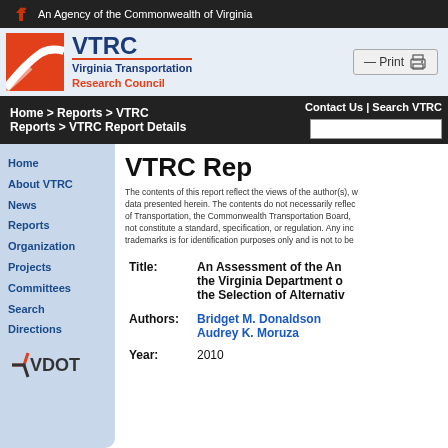An Agency of the Commonwealth of Virginia
[Figure (logo): VTRC Virginia Transportation Research Council logo with orange square and bird icon]
Print
Home > Reports > VTRC Reports > VTRC Report Details | Contact Us | Search VTRC
Home
About VTRC
News
Reports
Organization
Projects
Committees
Search
Directions
VTRC Rep
The contents of this report reflect the views of the author(s), who are responsible for the facts and the accuracy of the data presented herein. The contents do not necessarily reflect the official views or policies of the Virginia Department of Transportation, the Commonwealth Transportation Board, or the Virginia Transportation Research Council. This report does not constitute a standard, specification, or regulation. Any inclusion of manufacturer names, trade names, or trademarks is for identification purposes only and is not to be considered an endorsement.
| Field | Value |
| --- | --- |
| Title: | An Assessment of the An... the Virginia Department o... the Selection of Alternativ... |
| Authors: | Bridget M. Donaldson
Audrey K. Moruza |
| Year: | 2010 |